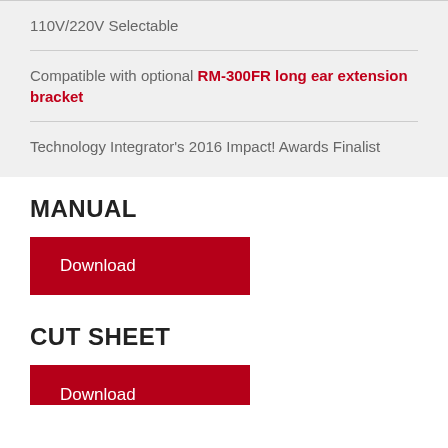110V/220V Selectable
Compatible with optional RM-300FR long ear extension bracket
Technology Integrator's 2016 Impact! Awards Finalist
MANUAL
Download
CUT SHEET
Download